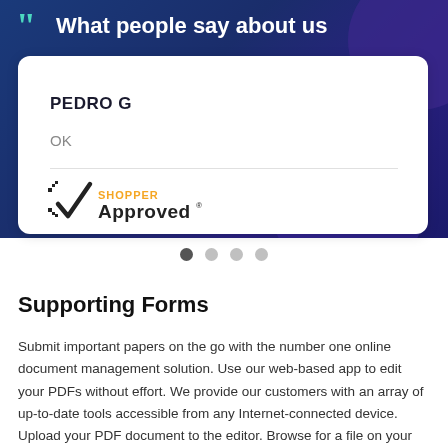What people say about us
PEDRO G
OK
[Figure (logo): Shopper Approved logo — checkmark with 'SHOPPER' in orange and 'Approved' in dark text]
Supporting Forms
Submit important papers on the go with the number one online document management solution. Use our web-based app to edit your PDFs without effort. We provide our customers with an array of up-to-date tools accessible from any Internet-connected device. Upload your PDF document to the editor. Browse for a file on your device or add it from an online location. Insert text, images, fillable